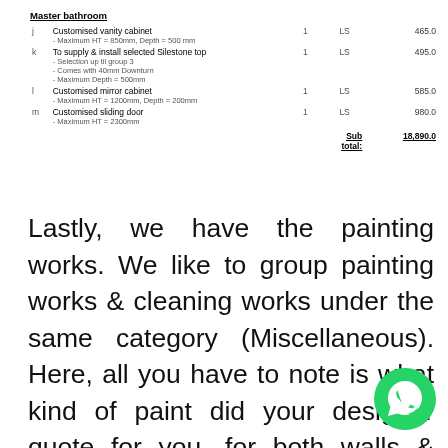Master bathroom
|  | Description | Qty | Unit | Price |
| --- | --- | --- | --- | --- |
| j | Customised vanity cabinet
- Maximum HT = 850mm, Depth = 500 mm | 1 | LS | 465.0 |
| k | To supply & install selected Silestone top
- Selection up til group 3
- Comes with 40mm Downturn
- Maximum Depth = 500mm | 1 | LS | 495.0 |
| l | Customised mirror cabinet
- Maximum HT = 1200mm, Depth = 200mm | 1 | LS | 585.0 |
| m | Customised sliding door
- Maximum HT = 2300mm | 1 | LS | 980.0 |
|  | Sub total: |  |  | 18,890.0 |
Lastly, we have the painting works. We like to group painting works & cleaning works under the same category (Miscellaneous). Here, all you have to note is what kind of paint did your designer quote for you, for both walls & ceiling. It is not uncommon for designer to use Nippon Matex white for ceiling, us, we make sure that your whole house is d e
[Figure (logo): WhatsApp green circular logo icon]